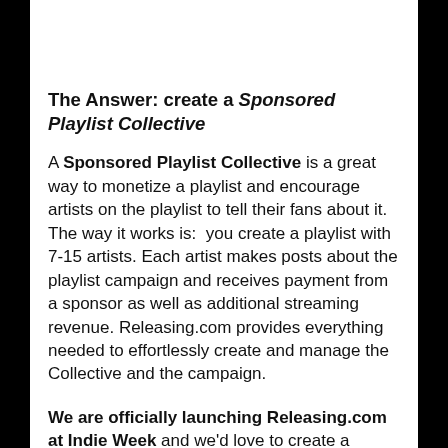The Answer: create a Sponsored Playlist Collective
A Sponsored Playlist Collective is a great way to monetize a playlist and encourage artists on the playlist to tell their fans about it. The way it works is:  you create a playlist with 7-15 artists. Each artist makes posts about the playlist campaign and receives payment from a sponsor as well as additional streaming revenue. Releasing.com provides everything needed to effortlessly create and manage the Collective and the campaign.
We are officially launching Releasing.com at Indie Week and we'd love to create a Playlist Collective for you (free of charge) and share